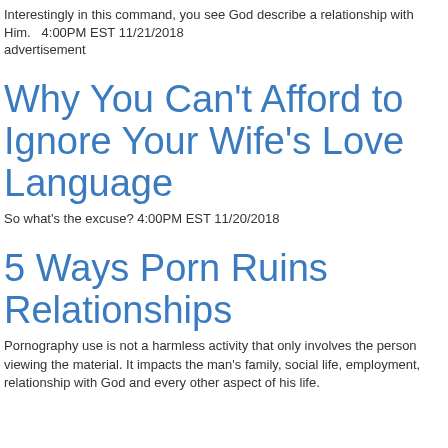Interestingly in this command, you see God describe a relationship with Him.   4:00PM EST 11/21/2018
advertisement
Why You Can't Afford to Ignore Your Wife's Love Language
So what's the excuse? 4:00PM EST 11/20/2018
5 Ways Porn Ruins Relationships
Pornography use is not a harmless activity that only involves the person viewing the material. It impacts the man's family, social life, employment, relationship with God and every other aspect of his life.